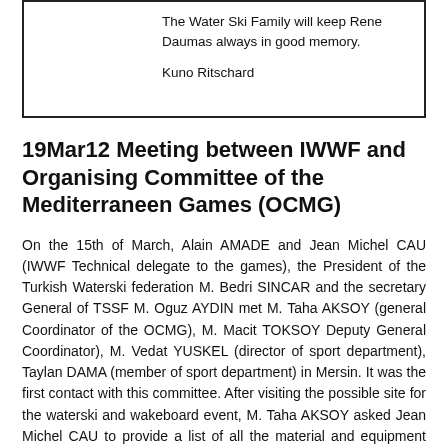The Water Ski Family will keep Rene Daumas always in good memory.

Kuno Ritschard
19Mar12 Meeting between IWWF and Organising Committee of the Mediterraneen Games (OCMG)
On the 15th of March, Alain AMADE and Jean Michel CAU (IWWF Technical delegate to the games), the President of the Turkish Waterski federation M. Bedri SINCAR and the secretary General of TSSF M. Oguz AYDIN met M. Taha AKSOY (general Coordinator of the OCMG), M. Macit TOKSOY Deputy General Coordinator), M. Vedat YUSKEL (director of sport department), Taylan DAMA (member of sport department) in Mersin. It was the first contact with this committee. After visiting the possible site for the waterski and wakeboard event, M. Taha AKSOY asked Jean Michel CAU to provide a list of all the material and equipment needed for waterski and wakeboard. The meeting was very positive and the Mersin OCMG is now in a good way to make the games the best as ever. The next meeting will take place in Mersin end of